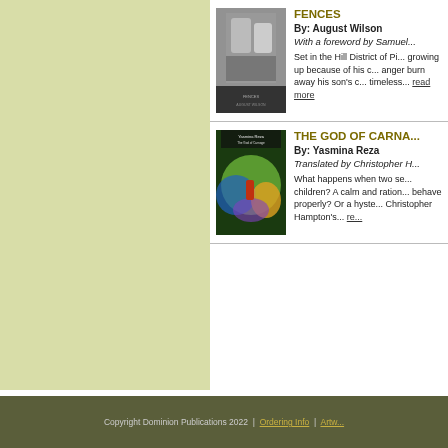[Figure (photo): Book cover for Fences by August Wilson - black and white photo of two people]
FENCES
By: August Wilson
With a foreword by Samuel...
Set in the Hill District of Pi... growing up because of his c... anger burn away his son's c... timeless... read more
[Figure (illustration): Book cover for The God of Carnage by Yasmina Reza - colorful illustration]
THE GOD OF CARNA...
By: Yasmina Reza
Translated by Christopher H...
What happens when two se... children? A calm and ration... behave properly? Or a hyste... Christopher Hampton's... read more
Copyright Dominion Publications 2022  |  Ordering Info  |  Artw...